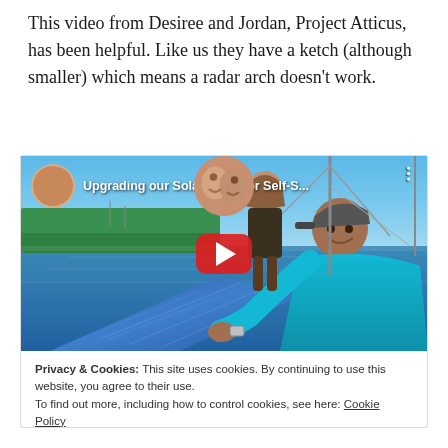This video from Desiree and Jordan, Project Atticus, has been helpful. Like us they have a ketch (although smaller) which means a radar arch doesn't work.
[Figure (screenshot): YouTube video embed showing 'Upgrading our Solar Array for Self-S...' with a thumbnail of two people on a sailboat working on a blue flexible solar panel. A red YouTube play button is centered on the thumbnail. Top-left shows a circular avatar of two people kissing. A cookie consent notice appears below the video with a 'Close and accept' button.]
Privacy & Cookies: This site uses cookies. By continuing to use this website, you agree to their use.
To find out more, including how to control cookies, see here: Cookie Policy
Close and accept